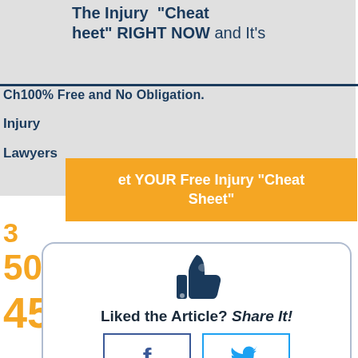The Injury "Cheat Sheet" RIGHT NOW and It's Ch 100% Free and No Obligation.
Injury
Lawyers
Get YOUR Free Injury "Cheat Sheet"
3
500-
4500
Liked the Article? Share It!
[Figure (illustration): Thumbs up icon in dark navy blue]
f (Facebook share button)
Twitter bird icon (Twitter share button)